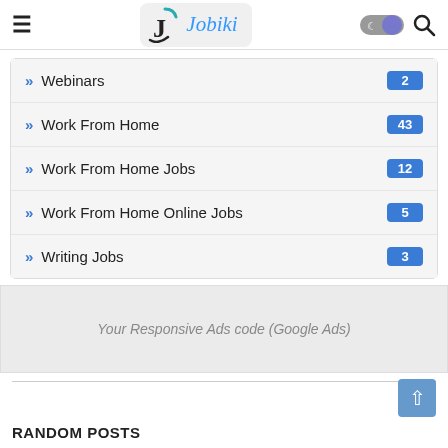Jobiki
Webinars 2
Work From Home 43
Work From Home Jobs 12
Work From Home Online Jobs 5
Writing Jobs 3
[Figure (other): Google Ads placeholder banner: 'Your Responsive Ads code (Google Ads)']
RANDOM POSTS